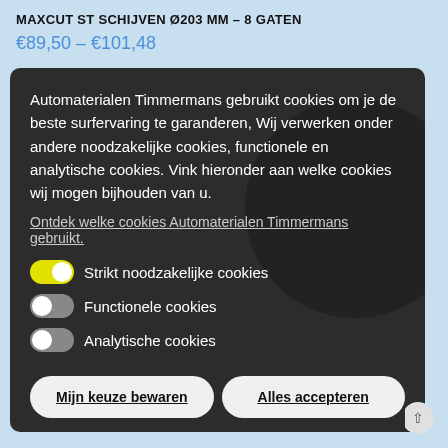MAXCUT ST SCHIJVEN Ø203 MM – 8 GATEN
€89,50 – €101,48
Automaterialen Timmermans gebruikt cookies om je de beste surfervaring te garanderen, Wij verwerken onder andere noodzakelijke cookies, functionele en analytische cookies. Vink hieronder aan welke cookies wij mogen bijhouden van u.
Ontdek welke cookies Automaterialen Timmermans gebruikt.
Strikt noodzakelijke cookies
Functionele cookies
Analytische cookies
Mijn keuze bewaren
Alles accepteren